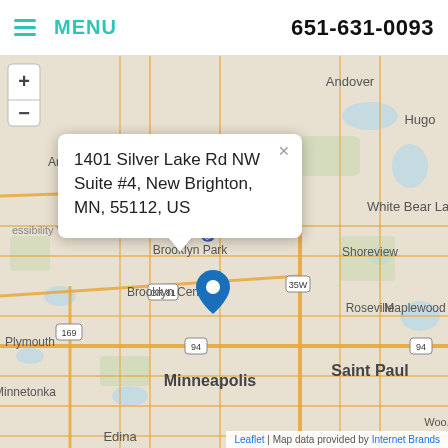MENU  651-631-0093
[Figure (map): Interactive Leaflet map showing the Minneapolis/Saint Paul metro area in Minnesota. A blue location pin marker is placed in New Brighton, MN near Silver Lake Rd NW. A popup tooltip shows the address: 1401 Silver Lake Rd NW Suite #4, New Brighton, MN, 55112, US. Visible cities include Andover, Anoka, Brooklyn Park, Brooklyn Center, Plymouth, Minnetonka, Minneapolis, Edina, Shoreview, Roseville, Maplewood, White Bear Lake, Hugo, Saint Paul, and Woodbury. Roads shown include CR 81, Highway 35W, Highway 35E, Highway 94, Highway 169, and Highway 610.]
1401 Silver Lake Rd NW Suite #4, New Brighton, MN, 55112, US
Leaflet | Map data provided by Internet Brands